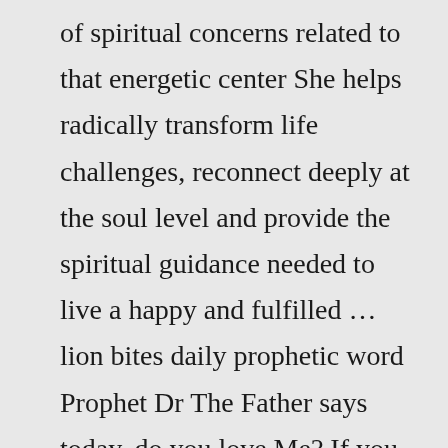of spiritual concerns related to that energetic center She helps radically transform life challenges, reconnect deeply at the soul level and provide the spiritual guidance needed to live a happy and fulfilled … lion bites daily prophetic word Prophet Dr The Father says today, do you love Me? If you love Me, you will obey Me To Him be all glory, honour, worship and praise, Craig Glasgow Prophetic Centre, PO Box 7661,